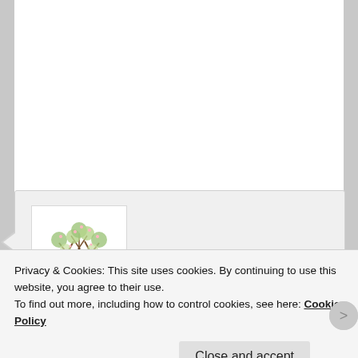sobrietytree on May 2, 2020 at 6:50 pm said:
“Sober as a bitten fingernail” – wow. Brilliant. And the first book that popped into my mind is The Artist’s Way… though that’s not specifically on dealing with depression. Thought I’d jot it down
Privacy & Cookies: This site uses cookies. By continuing to use this website, you agree to their use.
To find out more, including how to control cookies, see here: Cookie Policy
Close and accept